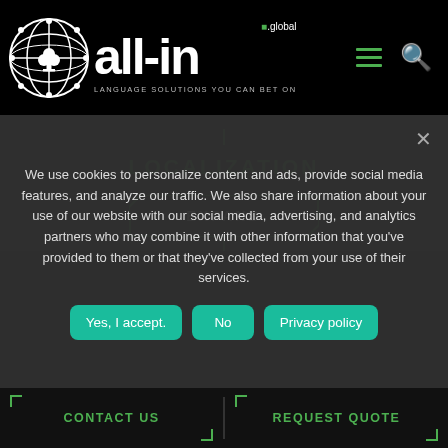[Figure (logo): all-in.global logo with globe icon and tagline 'LANGUAGE SOLUTIONS YOU CAN BET ON']
LOCALIZATION
EXPAND
We use cookies to personalize content and ads, provide social media features, and analyze our traffic. We also share information about your use of our website with our social media, advertising, and analytics partners who may combine it with other information that you've provided to them or that they've collected from your use of their services.
Yes, I accept.
No
Privacy policy
CONTACT US
REQUEST QUOTE